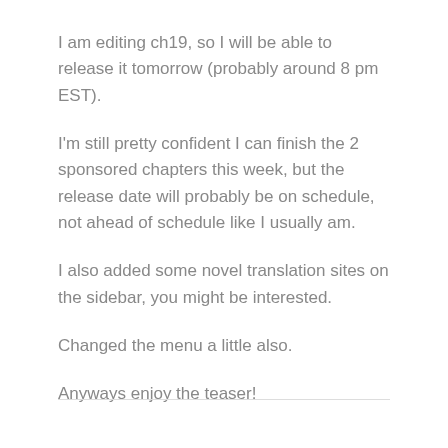I am editing ch19, so I will be able to release it tomorrow (probably around 8 pm EST).
I'm still pretty confident I can finish the 2 sponsored chapters this week, but the release date will probably be on schedule, not ahead of schedule like I usually am.
I also added some novel translation sites on the sidebar, you might be interested.
Changed the menu a little also.
Anyways enjoy the teaser!